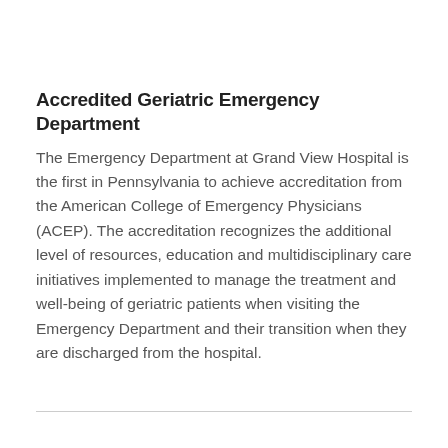Accredited Geriatric Emergency Department
The Emergency Department at Grand View Hospital is the first in Pennsylvania to achieve accreditation from the American College of Emergency Physicians (ACEP). The accreditation recognizes the additional level of resources, education and multidisciplinary care initiatives implemented to manage the treatment and well-being of geriatric patients when visiting the Emergency Department and their transition when they are discharged from the hospital.